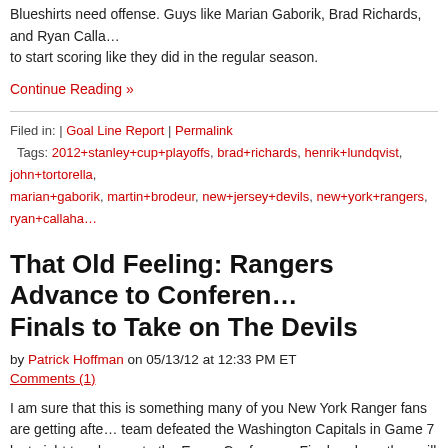Blueshirts need offense. Guys like Marian Gaborik, Brad Richards, and Ryan Callahan need to start scoring like they did in the regular season.
Continue Reading »
Filed in: | Goal Line Report | Permalink
Tags: 2012+stanley+cup+playoffs, brad+richards, henrik+lundqvist, john+tortorella, marian+gaborik, martin+brodeur, new+jersey+devils, new+york+rangers, ryan+callaha…
That Old Feeling: Rangers Advance to Conference Finals to Take on The Devils
by Patrick Hoffman on 05/13/12 at 12:33 PM ET
Comments (1)
I am sure that this is something many of you New York Ranger fans are getting afte… team defeated the Washington Capitals in Game 7 last night to advance to the Eastern Conference Finals, where they will take on the New Jersey Devils.
Obviously, this is similar to 1994. While it did not take 7 games in 1994 to knock out the Capitals in the second round, the Rangers still came through with the win to advance… on Martin Brodeur and the New Jersey Devils.
18 years later, Brodeur is still the man between the pipes in New Jersey and has the… Stanley Cups on his Hall of Fame resume. With that said, the Rangers team he will face this season is much different than the one he faced as a rookie in 1994.
Back to the Blueshirts. The Blueshirts have shown time and time again this sea…